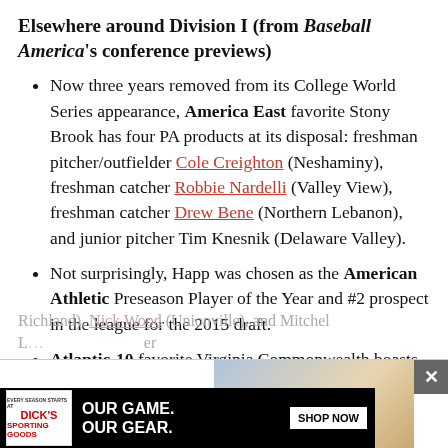Elsewhere around Division I (from Baseball America's conference previews)
Now three years removed from its College World Series appearance, America East favorite Stony Brook has four PA products at its disposal: freshman pitcher/outfielder Cole Creighton (Neshaminy), freshman catcher Robbie Nardelli (Valley View), freshman catcher Drew Bene (Northern Lebanon), and junior pitcher Tim Knesnik (Delaware Valley).
Not surprisingly, Happ was chosen as the American Athletic Preseason Player of the Year and #2 prospect in the league for the 2015 draft.
Atlantic-10 favorite Virginia Commonwealth boasts 10 PA players on its roster: junior outfielder Jimmy Kerrigan (Neumann-Goretti), a trio of freshman infielders in Daane Berezo (Pine-
Richland), Nick Wood (Unionville), and Mitchel L... er M... man
[Figure (other): Dick's Sporting Goods advertisement banner: 'OUR GAME. OUR GEAR.' with SHOP NOW button and baseball player photo. Close buttons visible.]